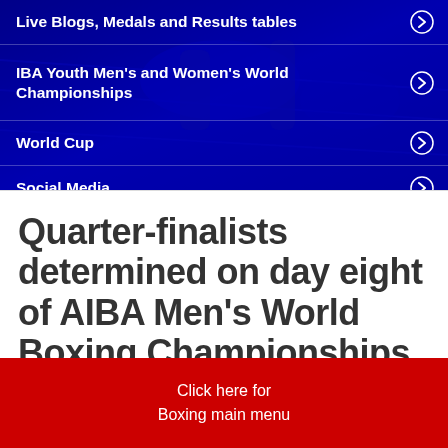Live Blogs, Medals and Results tables
IBA Youth Men's and Women's World Championships
World Cup
Social Media
Quarter-finalists determined on day eight of AIBA Men's World Boxing Championships
Click here for Boxing main menu